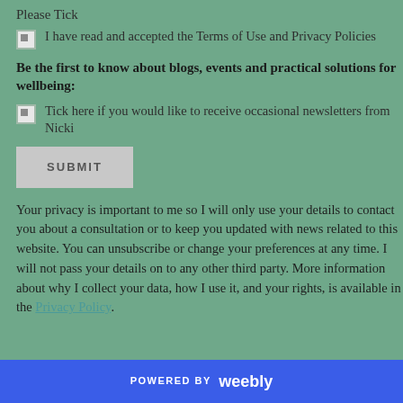Please Tick
I have read and accepted the Terms of Use and Privacy Policies
Be the first to know about blogs, events and practical solutions for wellbeing:
Tick here if you would like to receive occasional newsletters from Nicki
SUBMIT
Your privacy is important to me so I will only use your details to contact you about a consultation or to keep you updated with news related to this website. You can unsubscribe or change your preferences at any time. I will not pass your details on to any other third party. More information about why I collect your data, how I use it, and your rights, is available in the Privacy Policy.
POWERED BY weebly